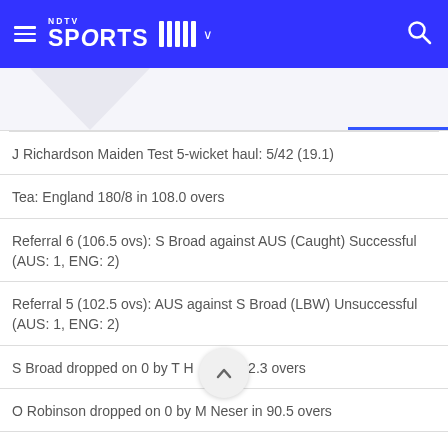NDTV Sports
J Richardson Maiden Test 5-wicket haul: 5/42 (19.1)
Tea: England 180/8 in 108.0 overs
Referral 6 (106.5 ovs): S Broad against AUS (Caught) Successful (AUS: 1, ENG: 2)
Referral 5 (102.5 ovs): AUS against S Broad (LBW) Unsuccessful (AUS: 1, ENG: 2)
S Broad dropped on 0 by T H... in 102.3 overs
O Robinson dropped on 0 by M Neser in 90.5 overs
Drinks: England 166/7 in 99.0 overs